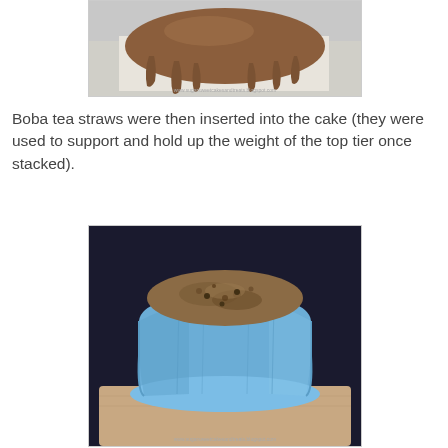[Figure (photo): Top-down view of a cake tier with chocolate/brown ganache dripping over the edges, sitting on foil-lined surface]
Boba tea straws were then inserted into the cake (they were used to support and hold up the weight of the top tier once stacked).
[Figure (photo): A blue fondant-covered cake tier shaped like a tree stump, with brown textured top visible, sitting on a wooden board]